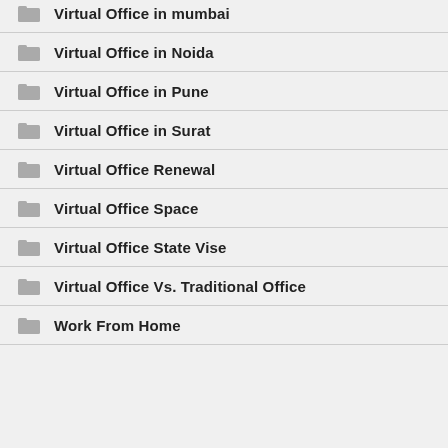Virtual Office in mumbai
Virtual Office in Noida
Virtual Office in Pune
Virtual Office in Surat
Virtual Office Renewal
Virtual Office Space
Virtual Office State Vise
Virtual Office Vs. Traditional Office
Work From Home